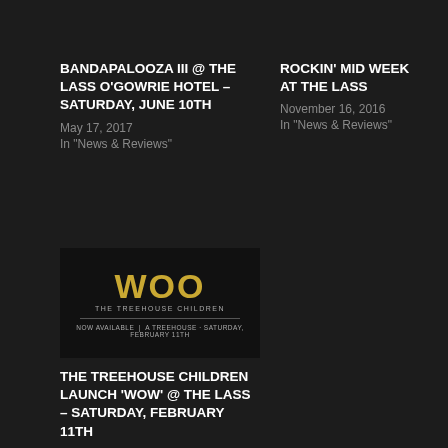BANDAPALOOZA III @ THE LASS O'GOWRIE HOTEL – SATURDAY, JUNE 10TH
May 17, 2017
In "News & Reviews"
ROCKIN' MID WEEK AT THE LASS
November 16, 2016
In "News & Reviews"
[Figure (logo): WOO – The Treehouse Children logo on dark background with text 'NOW AVAILABLE' and 'A TREEHOUSE SATURDAY, FEBRUARY 11TH']
THE TREEHOUSE CHILDREN LAUNCH 'WOW' @ THE LASS – SATURDAY, FEBRUARY 11TH
February 10, 2017
In "News & Reviews"